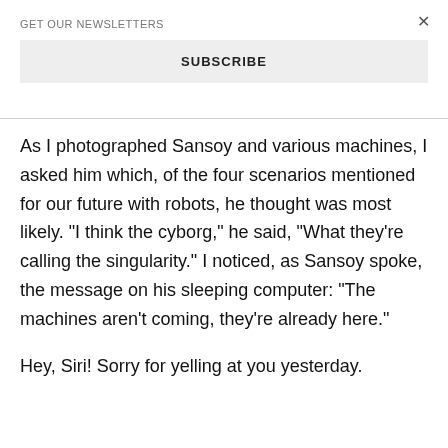GET OUR NEWSLETTERS
SUBSCRIBE
As I photographed Sansoy and various machines, I asked him which, of the four scenarios mentioned for our future with robots, he thought was most likely. "I think the cyborg," he said, "What they're calling the singularity." I noticed, as Sansoy spoke, the message on his sleeping computer: "The machines aren't coming, they're already here."
Hey, Siri! Sorry for yelling at you yesterday.